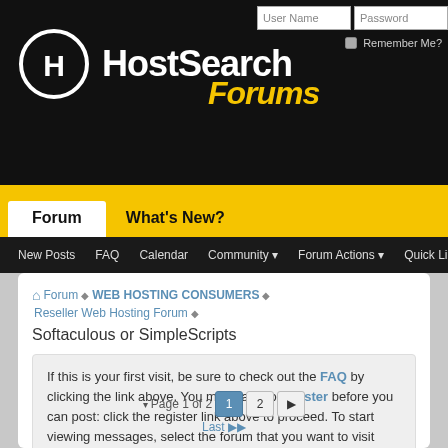[Figure (screenshot): HostSearch Forums website header with logo, login fields, navigation tabs (Forum, What's New?), and sub-navigation bar (New Posts, FAQ, Calendar, Community, Forum Actions, Quick Links)]
Forum ▶ WEB HOSTING CONSUMERS ▶ Reseller Web Hosting Forum ▶
Softaculous or SimpleScripts
If this is your first visit, be sure to check out the FAQ by clicking the link above. You may have to register before you can post: click the register link above to proceed. To start viewing messages, select the forum that you want to visit from the selection below.
Page 1 of 2  1  2  ▶  Last ▶▶